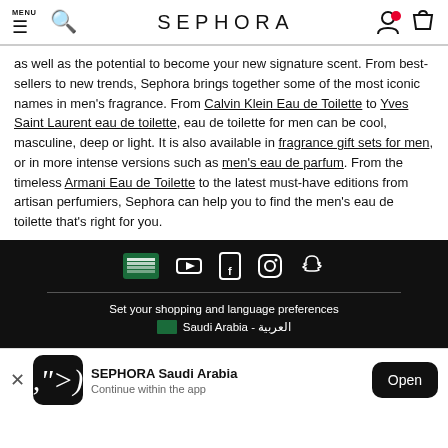MENU  [search icon]  SEPHORA  [account icon] [bag icon]
as well as the potential to become your new signature scent. From best-sellers to new trends, Sephora brings together some of the most iconic names in men's fragrance. From Calvin Klein Eau de Toilette to Yves Saint Laurent eau de toilette, eau de toilette for men can be cool, masculine, deep or light. It is also available in fragrance gift sets for men, or in more intense versions such as men's eau de parfum. From the timeless Armani Eau de Toilette to the latest must-have editions from artisan perfumiers, Sephora can help you to find the men's eau de toilette that's right for you.
[Figure (screenshot): Dark footer with social media icons: a flag/MBS icon, YouTube, Facebook, Instagram, Snapchat. Below a divider: 'Set your shopping and language preferences' with Saudi Arabia flag and text 'Saudi Arabia - العربية']
[Figure (screenshot): App download banner: X close button, Sephora app icon (black with S), 'SEPHORA Saudi Arabia' title, 'Continue within the app' subtitle, 'Open' button]